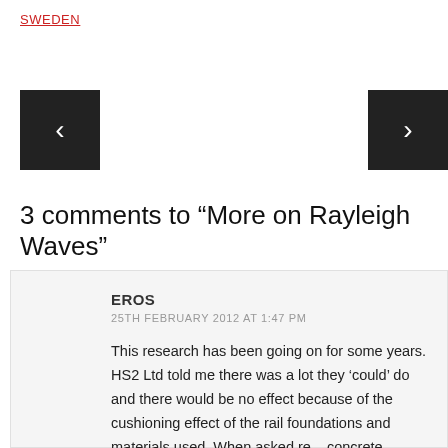SWEDEN
[Figure (other): Left navigation arrow button (dark background with white < chevron)]
[Figure (other): Right navigation arrow button (dark background with white > chevron)]
3 comments to “More on Rayleigh Waves”
EROS
25TH FEBRUARY 2012 AT 1:47 PM
This research has been going on for some years. HS2 Ltd told me there was a lot they ‘could’ do and there would be no effect because of the cushioning effect of the rail foundations and materials used. When asked re – concrete viaducts they said there would still be no effect. From the answers given, the message my brain received was they had not considered it and